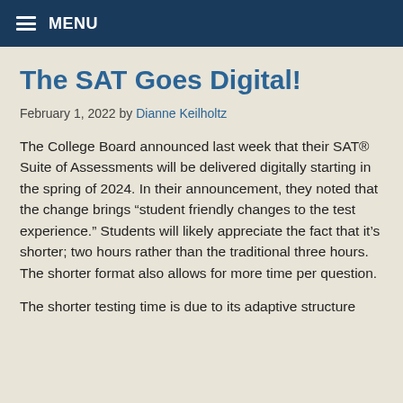MENU
The SAT Goes Digital!
February 1, 2022 by Dianne Keilholtz
The College Board announced last week that their SAT® Suite of Assessments will be delivered digitally starting in the spring of 2024. In their announcement, they noted that the change brings “student friendly changes to the test experience.” Students will likely appreciate the fact that it’s shorter; two hours rather than the traditional three hours. The shorter format also allows for more time per question.
The shorter testing time is due to its adaptive structure